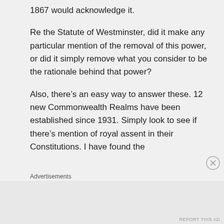1867 would acknowledge it.
Re the Statute of Westminster, did it make any particular mention of the removal of this power, or did it simply remove what you consider to be the rationale behind that power?
Also, there’s an easy way to answer these. 12 new Commonwealth Realms have been established since 1931. Simply look to see if there’s mention of royal assent in their Constitutions. I have found the
Advertisements